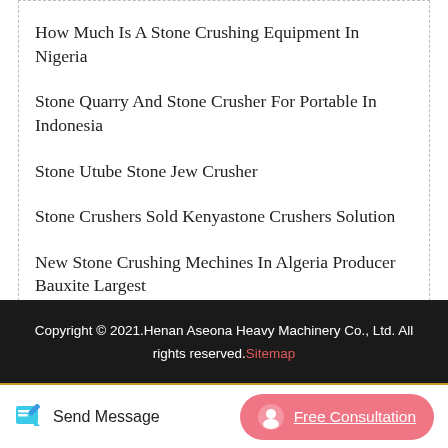How Much Is A Stone Crushing Equipment In Nigeria
Stone Quarry And Stone Crusher For Portable In Indonesia
Stone Utube Stone Jew Crusher
Stone Crushers Sold Kenyastone Crushers Solution
New Stone Crushing Mechines In Algeria Producer Bauxite Largest
[Figure (other): Scroll to top button, pink/red rounded square with upward arrow icon]
Copyright © 2021.Henan Aseona Heavy Machinery Co., Ltd. All rights reserved. Sitemap
Send Message   Free Consultation